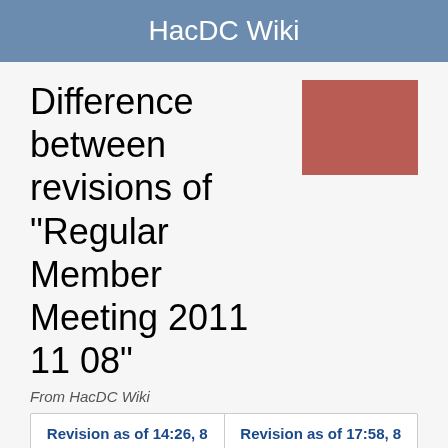HacDC Wiki
Difference between revisions of "Regular Member Meeting 2011 11 08"
From HacDC Wiki
| Revision as of 14:26, 8 November 2011 (view source) | Revision as of 17:58, 8 November 2011 (view source) |
| --- | --- |
| Tslagle (talk | contribs) | Redbeard (talk | contribs) |
| (Created page with """Note:"" This page serves as the 2011-11-08 Member Meeting's agenda (before the meeting) and minutes (after the meeting). == Time and... | Newer edit → |